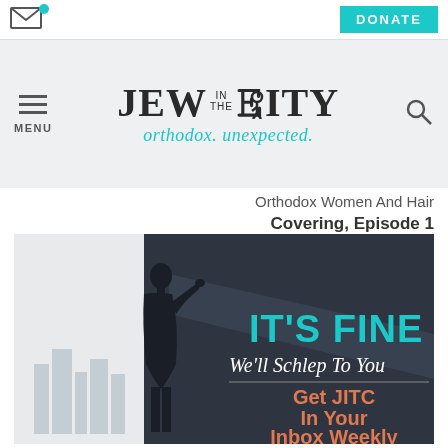DONATE
JEW IN THE CITY orthodox. unexpected.
Orthodox Women And Hair Covering, Episode 1
[Figure (illustration): Promotional banner for Jew in the City newsletter signup. Silhouette of a woman holding a flashlight against a dark angular background with cityscape. Text reads: IT'S FINE We'll Schlep To You — Get JITC In Your Inbox Weekly.]